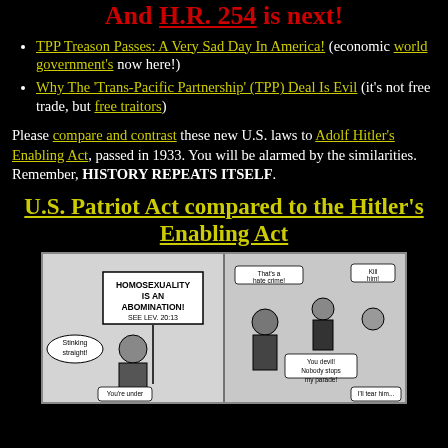And H.R. 254 is next!
TPP Treason Passes: A Very Sad Day In America! (economic world government's now here!)
Why The 'Trans-Pacific Partnership' (TPP) Deal Is Evil (it's not free trade, but free traitors)
Please compare and contrast these new U.S. laws to Adolf Hitler's Enabling Act, passed in 1933. You will be alarmed by the similarities. Remember, HISTORY REPEATS ITSELF.
U.S. Patriot Act compared to the Hitler's Enabling Act
[Figure (illustration): Political cartoon showing a man holding a sign reading 'HOMOSEXUALITY IS AN ABOMINATION! SEE LEV. 20:13' with speech bubbles including 'Stinking straight!', 'That's a hate crime!', 'Kill him!', 'You devil! Nobody stops my parade!', 'You're under...', 'I'll tear him...']